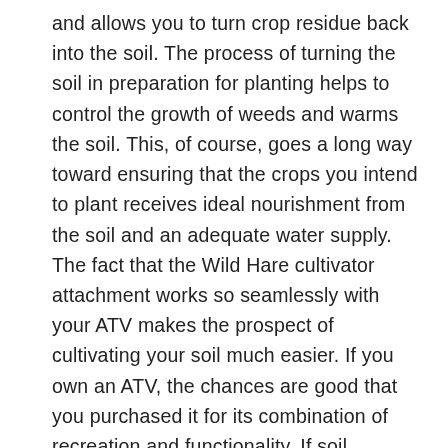and allows you to turn crop residue back into the soil. The process of turning the soil in preparation for planting helps to control the growth of weeds and warms the soil. This, of course, goes a long way toward ensuring that the crops you intend to plant receives ideal nourishment from the soil and an adequate water supply. The fact that the Wild Hare cultivator attachment works so seamlessly with your ATV makes the prospect of cultivating your soil much easier. If you own an ATV, the chances are good that you purchased it for its combination of recreation and functionality. If soil cultivation has been a necessary, but difficult process for you in the past, it does not need to be this way any longer. Attaching our cultivator to your ATV optimizes its functionality, but it can also transform the cultivation process from necessary and difficult to necessary and fun.